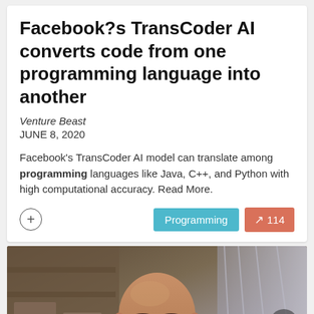Facebook?s TransCoder AI converts code from one programming language into another
Venture Beast
JUNE 8, 2020
Facebook's TransCoder AI model can translate among programming languages like Java, C++, and Python with high computational accuracy. Read More.
[Figure (photo): Portrait photo of a bald man with glasses and a beard, wearing a teal polo shirt, smiling, in an indoor setting]